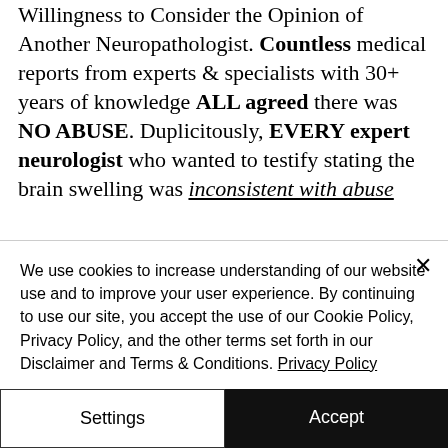Willingness to Consider the Opinion of Another Neuropathologist. Countless medical reports from experts & specialists with 30+ years of knowledge ALL agreed there was NO ABUSE. Duplicitously, EVERY expert neurologist who wanted to testify stating the brain swelling was inconsistent with abuse were NEVER allowed to testify. The Defense refused to return their
We use cookies to increase understanding of our website use and to improve your user experience. By continuing to use our site, you accept the use of our Cookie Policy, Privacy Policy, and the other terms set forth in our Disclaimer and Terms & Conditions. Privacy Policy